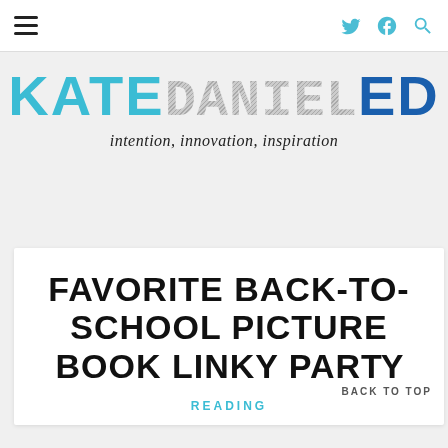Navigation bar with hamburger menu, Twitter, Facebook, and Search icons
[Figure (logo): KateDanielEd blog logo with tagline 'intention, innovation, inspiration'. KATE in teal/cyan block letters, DANIEL in gray hatched letters, ED in dark blue block letters.]
FAVORITE BACK-TO-SCHOOL PICTURE BOOK LINKY PARTY
READING
BACK TO TOP